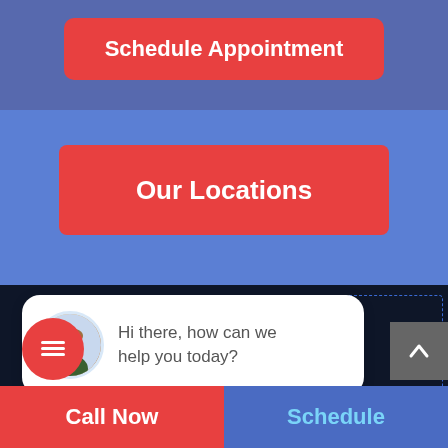Schedule Appointment
Our Locations
[Figure (screenshot): Chat bubble with avatar showing female consultant, text: Hi there, how can we help you today?]
40489 Davis St, Fremont, CA 94538
Call Now
Schedule